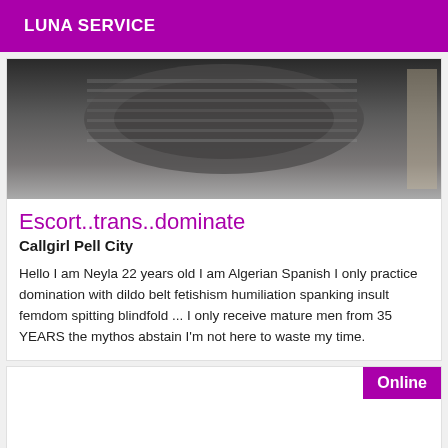LUNA SERVICE
[Figure (photo): A dark photograph showing a cylindrical or spherical object covered in text/writing, appears monochromatic]
Escort..trans..dominate
Callgirl Pell City
Hello I am Neyla 22 years old I am Algerian Spanish I only practice domination with dildo belt fetishism humiliation spanking insult femdom spitting blindfold ... I only receive mature men from 35 YEARS the mythos abstain I'm not here to waste my time.
Online